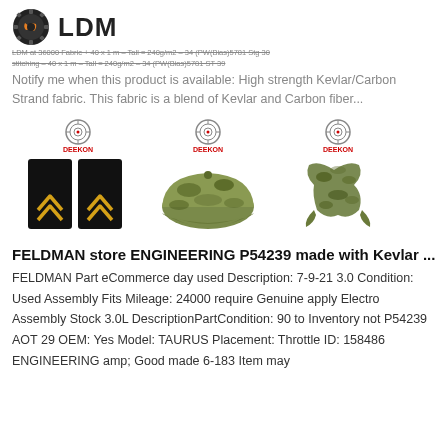LDM
LDM at 36000 Fabric + 40 x 1 m – Tall = 240g/m2 – 34 (PW(Bias)5781 Stg 30 stitching – 40 x 1 m – Tall = 240g/m2 – 34 (PW(Bias)5781 ST 39
Notify me when this product is available: High strength Kevlar/Carbon Strand fabric. This fabric is a blend of Kevlar and Carbon fiber...
[Figure (photo): Three military/tactical products displayed with DEEKON branding: black shoulder epaulettes with gold chevrons (left), camouflage military cap (center), camouflage scarf/shemagh (right)]
FELDMAN store ENGINEERING P54239 made with Kevlar ...
FELDMAN Part eCommerce day used Description: 7-9-21 3.0 Condition: Used Assembly Fits Mileage: 24000 require Genuine apply Electro Assembly Stock 3.0L DescriptionPartCondition: 90 to Inventory not P54239 AOT 29 OEM: Yes Model: TAURUS Placement: Throttle ID: 158486 ENGINEERING amp; Good made 6-183 Item may